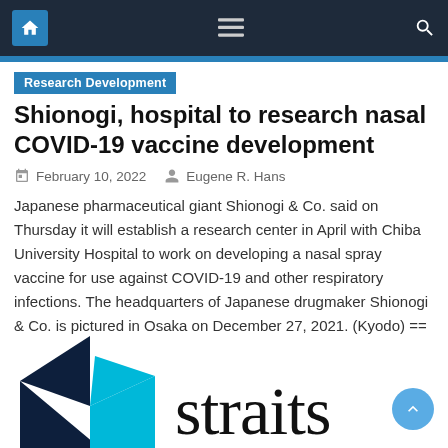Navigation bar with home, menu, and search icons
Research Development
Shionogi, hospital to research nasal COVID-19 vaccine development
February 10, 2022   Eugene R. Hans
Japanese pharmaceutical giant Shionogi & Co. said on Thursday it will establish a research center in April with Chiba University Hospital to work on developing a nasal spray vaccine for use against COVID-19 and other respiratory infections. The headquarters of Japanese drugmaker Shionogi & Co. is pictured in Osaka on December 27, 2021. (Kyodo) == [...]
[Figure (logo): Straits Times logo with dark blue and cyan geometric arrow shapes on left and 'straits' text on right]